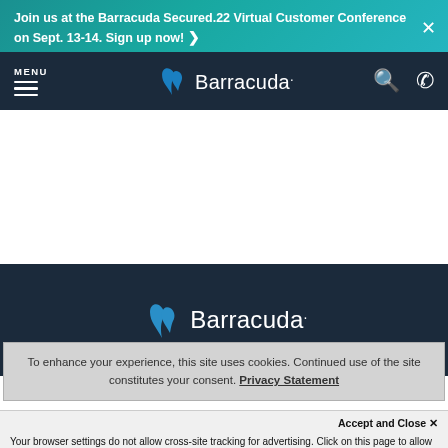Join us at the Barracuda Secured.22 Virtual Customer Conference on Sept. 13-14. Sign up now! ›
[Figure (screenshot): Barracuda navigation bar with logo, menu icon, search icon, and phone icon on dark navy background]
[Figure (logo): Barracuda logo with fin icon on dark navy background in footer]
To enhance your experience, this site uses cookies. Continued use of the site constitutes your consent. Privacy Statement
Accept and Close ✕
Your browser settings do not allow cross-site tracking for advertising. Click on this page to allow AdRoll to use cross-site tracking to tailor ads to you. Learn more or opt out of this AdRoll tracking by clicking here. This message only appears once.